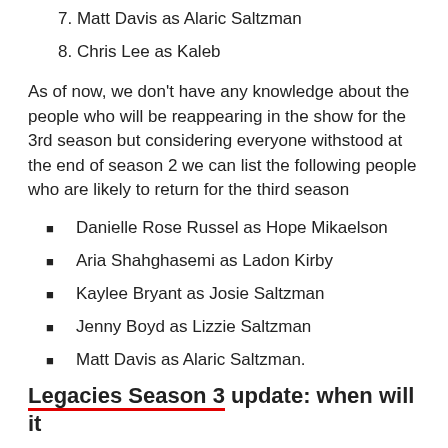7. Matt Davis as Alaric Saltzman
8. Chris Lee as Kaleb
As of now, we don't have any knowledge about the people who will be reappearing in the show for the 3rd season but considering everyone withstood at the end of season 2 we can list the following people who are likely to return for the third season
Danielle Rose Russel as Hope Mikaelson
Aria Shahghasemi as Ladon Kirby
Kaylee Bryant as Josie Saltzman
Jenny Boyd as Lizzie Saltzman
Matt Davis as Alaric Saltzman.
Legacies Season 3 update: when will it